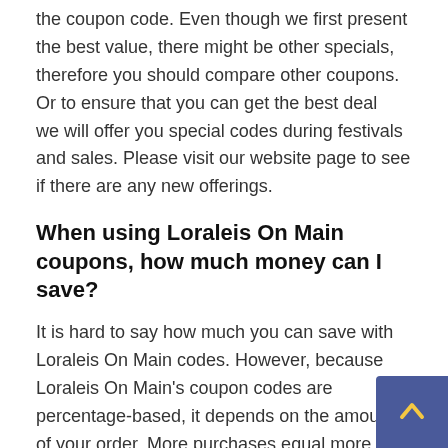the coupon code. Even though we first present the best value, there might be other specials, therefore you should compare other coupons. Or to ensure that you can get the best deal   we will offer you special codes during festivals and sales. Please visit our website page to see if there are any new offerings.
When using Loraleis On Main coupons, how much money can I save?
It is hard to say how much you can save with Loraleis On Main codes. However, because Loraleis On Main's coupon codes are percentage-based, it depends on the amount of your order. More purchases equal more savings. And you might not find the best offer. Nevertheless, you may always make the biggest savings by using our website. Because our SHIEN coupon code is the best and most detailed. We'll provide you the best recommendations and deals in the right order, you won't have to waste time and